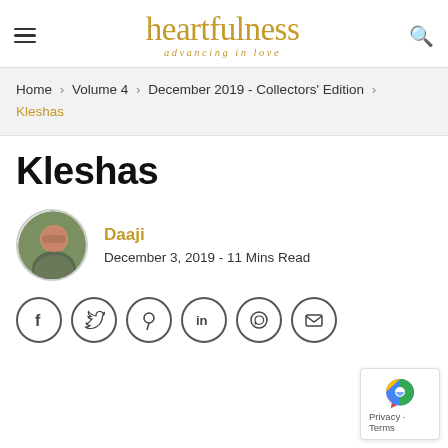heartfulness — advancing in love
Home › Volume 4 › December 2019 - Collectors' Edition › Kleshas
Kleshas
Daaji
December 3, 2019 - 11 Mins Read
[Figure (other): Social sharing icons: Facebook, Twitter, Pinterest, LinkedIn, WhatsApp, Email]
[Figure (other): reCAPTCHA badge with Privacy and Terms links]